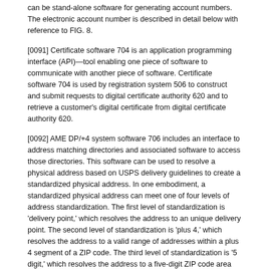can be stand-alone software for generating account numbers. The electronic account number is described in detail below with reference to FIG. 8.
[0091] Certificate software 704 is an application programming interface (API)—tool enabling one piece of software to communicate with another piece of software. Certificate software 704 is used by registration system 506 to construct and submit requests to digital certificate authority 620 and to retrieve a customer's digital certificate from digital certificate authority 620.
[0092] AME DP/+4 system software 706 includes an interface to address matching directories and associated software to access those directories. This software can be used to resolve a physical address based on USPS delivery guidelines to create a standardized physical address. In one embodiment, a standardized physical address can meet one of four levels of address standardization. The first level of standardization is 'delivery point,' which resolves the address to an unique delivery point. The second level of standardization is 'plus 4,' which resolves the address to a valid range of addresses within a plus 4 segment of a ZIP code. The third level of standardization is '5 digit,' which resolves the address to a five-digit ZIP code area only. The fourth level of standardization is 'last line,' which resolves the address to a city, state, and ZIP code. The address matching